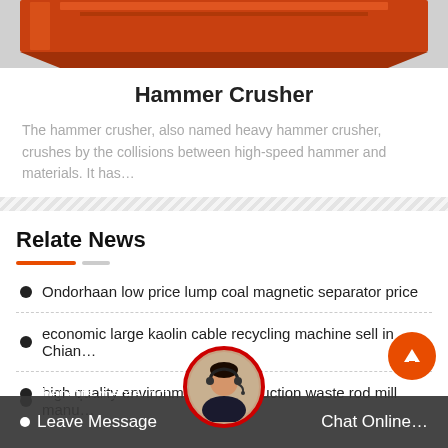[Figure (photo): Top portion of a hammer crusher machine, orange/red colored industrial equipment]
Hammer Crusher
The hammer crusher, also named heavy hammer crusher, crushes by the collisions between high-speed hammer and materials. It has…
Relate News
Ondorhaan low price lump coal magnetic separator price
economic large kaolin cable recycling machine sell in Chian…
high quality environmental construction waste rod mill manu…
Leave Message benefits mental pot Chat Online…